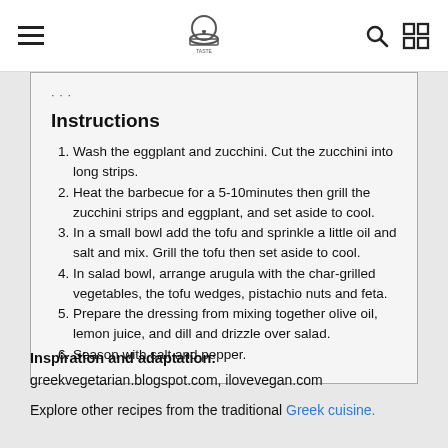Navigation bar with hamburger menu, chef logo, search and grid icons
Instructions
Wash the eggplant and zucchini. Cut the zucchini into long strips.
Heat the barbecue for a 5-10minutes then grill the zucchini strips and eggplant, and set aside to cool.
In a small bowl add the tofu and sprinkle a little oil and salt and mix. Grill the tofu then set aside to cool.
In salad bowl, arrange arugula with the char-grilled vegetables, the tofu wedges, pistachio nuts and feta.
Prepare the dressing from mixing together olive oil, lemon juice, and dill and drizzle over salad.
Season with salt and pepper.
Inspiration and adaptation:
greekvegetarian.blogspot.com, ilovevegan.com
Explore other recipes from the traditional Greek cuisine.